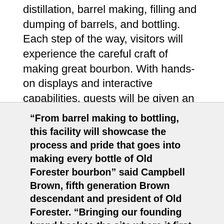distillation, barrel making, filling and dumping of barrels, and bottling. Each step of the way, visitors will experience the careful craft of making great bourbon. With hands-on displays and interactive capabilities, guests will be given an inside peek at the art involved in the final product.
“From barrel making to bottling, this facility will showcase the process and pride that goes into making every bottle of Old Forester bourbon” said Campbell Brown, fifth generation Brown descendant and president of Old Forester. “Bringing our founding brand back to the site where it first began, is cause for celebration at Brown–Forman for both our employees and my family but it’s also a dedicated investment into this region that we